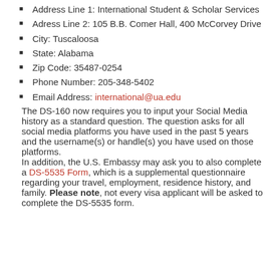Address Line 1: International Student & Scholar Services
Adress Line 2: 105 B.B. Comer Hall, 400 McCorvey Drive
City: Tuscaloosa
State: Alabama
Zip Code: 35487-0254
Phone Number: 205-348-5402
Email Address: international@ua.edu
The DS-160 now requires you to input your Social Media history as a standard question. The question asks for all social media platforms you have used in the past 5 years and the username(s) or handle(s) you have used on those platforms.
In addition, the U.S. Embassy may ask you to also complete a DS-5535 Form, which is a supplemental questionnaire regarding your travel, employment, residence history, and family. Please note, not every visa applicant will be asked to complete the DS-5535 form.